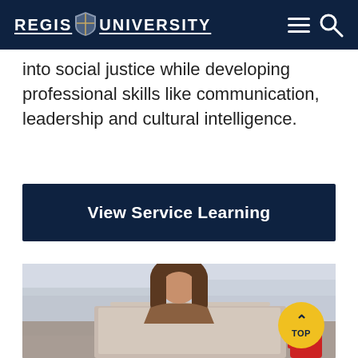REGIS UNIVERSITY
into social justice while developing professional skills like communication, leadership and cultural intelligence.
View Service Learning
[Figure (photo): A female student working on a laptop computer, photographed from across the table with a blurred background. A yellow circular 'TOP' back-to-top button is visible in the lower right corner.]